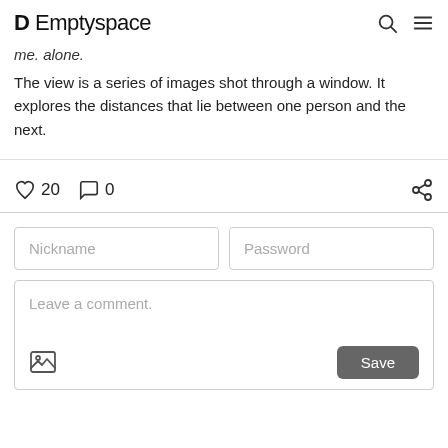D Emptyspace
me. alone.
The view is a series of images shot through a window. It explores the distances that lie between one person and the next.
♡ 20   ○ 0
Nickname | Password
Leave a comment.
Save